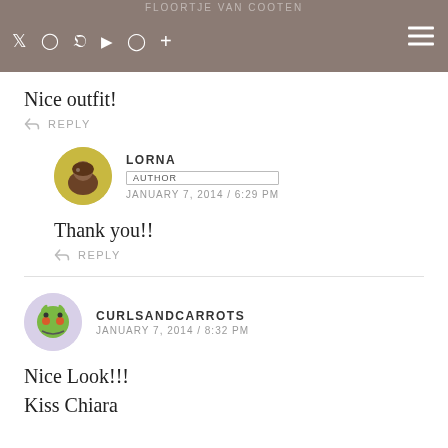FLOORTJE VAN COOTEN — social media icons — hamburger menu
Nice outfit!
↩ REPLY
LORNA
AUTHOR
JANUARY 7, 2014 / 6:29 PM
Thank you!!
↩ REPLY
CURLSANDCARROTS
JANUARY 7, 2014 / 8:32 PM
Nice Look!!!
Kiss Chiara